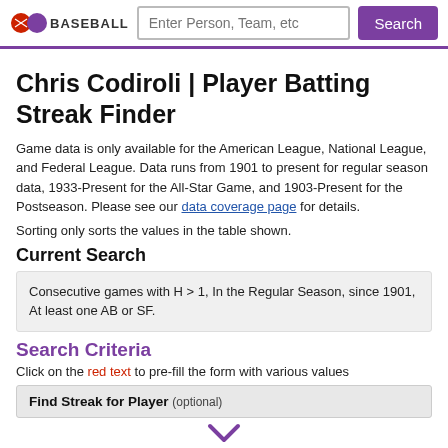BASEBALL — Search bar with Search button
Chris Codiroli | Player Batting Streak Finder
Game data is only available for the American League, National League, and Federal League. Data runs from 1901 to present for regular season data, 1933-Present for the All-Star Game, and 1903-Present for the Postseason. Please see our data coverage page for details.
Sorting only sorts the values in the table shown.
Current Search
Consecutive games with H > 1, In the Regular Season, since 1901, At least one AB or SF.
Search Criteria
Click on the red text to pre-fill the form with various values
Find Streak for Player (optional)